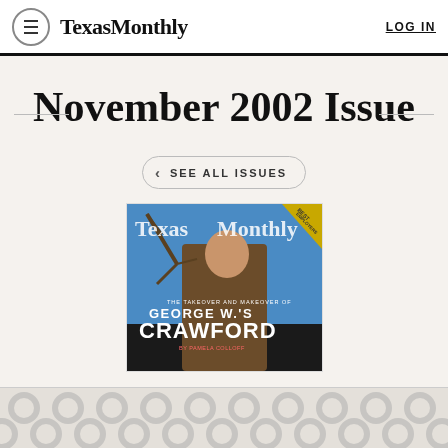TexasMonthly  LOG IN
November 2002 Issue
< SEE ALL ISSUES
[Figure (photo): Texas Monthly magazine cover for November 2002 featuring George W. Bush with text 'THE TAKEOVER AND MAKEOVER OF GEORGE W.'S CRAWFORD BY PAMELA COLLOFF']
[Figure (other): Decorative ad banner with repeating circle/dot pattern in light grey and white]